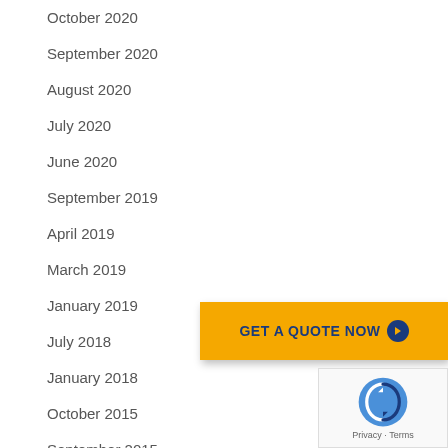October 2020
September 2020
August 2020
July 2020
June 2020
September 2019
April 2019
March 2019
January 2019
July 2018
January 2018
October 2015
September 2015
August 2015
July 2015
[Figure (other): Orange 'GET A QUOTE NOW' call-to-action button with dark blue text and a circular arrow icon]
[Figure (other): Google reCAPTCHA badge with logo and Privacy · Terms text]